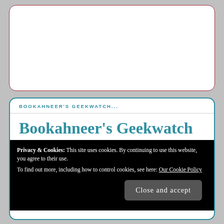[Figure (other): White rounded rectangle card with dark red border — empty content area]
BOOKAHNEER'S GEEKWATCH...
Bookahneer's Geekwatch
Privacy & Cookies: This site uses cookies. By continuing to use this website, you agree to their use.
To find out more, including how to control cookies, see here: Our Cookie Policy
Close and accept